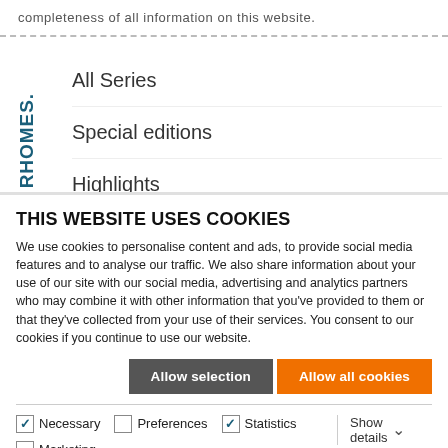completeness of all information on this website.
All Series
Special editions
Highlights
THIS WEBSITE USES COOKIES
We use cookies to personalise content and ads, to provide social media features and to analyse our traffic. We also share information about your use of our site with our social media, advertising and analytics partners who may combine it with other information that you've provided to them or that they've collected from your use of their services. You consent to our cookies if you continue to use our website.
Allow selection | Allow all cookies
Necessary | Preferences | Statistics | Marketing | Show details